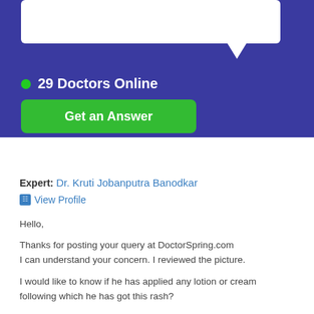[Figure (screenshot): Blue banner with white speech bubble text area at top, green dot and '29 Doctors Online' text, and a green 'Get an Answer' button]
Expert: Dr. Kruti Jobanputra Banodkar
View Profile
Hello,
Thanks for posting your query at DoctorSpring.com
I can understand your concern. I reviewed the picture.
I would like to know if he has applied any lotion or cream following which he has got this rash?